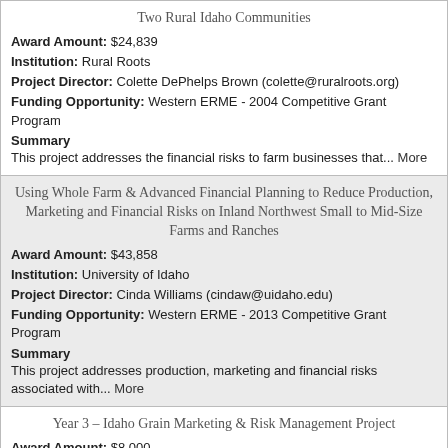Two Rural Idaho Communities
Award Amount: $24,839
Institution: Rural Roots
Project Director: Colette DePhelps Brown (colette@ruralroots.org)
Funding Opportunity: Western ERME - 2004 Competitive Grant Program
Summary
This project addresses the financial risks to farm businesses that... More
Using Whole Farm & Advanced Financial Planning to Reduce Production, Marketing and Financial Risks on Inland Northwest Small to Mid-Size Farms and Ranches
Award Amount: $43,858
Institution: University of Idaho
Project Director: Cinda Williams (cindaw@uidaho.edu)
Funding Opportunity: Western ERME - 2013 Competitive Grant Program
Summary
This project addresses production, marketing and financial risks associated with... More
Year 3 – Idaho Grain Marketing & Risk Management Project
Award Amount: $8,000
Institution: Idaho Barley Commission
Project Director: Kelly Olson (kolson@barley.state.id.us)
Funding Opportunity: Western ERME - 2004 Competitive Grant Program
Summary
This project will build on a solid foundation of grain... More